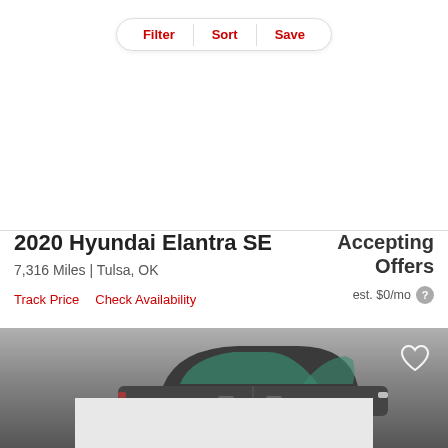Filter | Sort | Save
2020 Hyundai Elantra SE
7,316 Miles | Tulsa, OK
Accepting Offers
est. $0/mo
Track Price
Check Availability
[Figure (photo): Partial view of a dark-colored Hyundai Elantra SE car shown from the side, with a gradient gray background and a heart/save icon in the top right corner.]